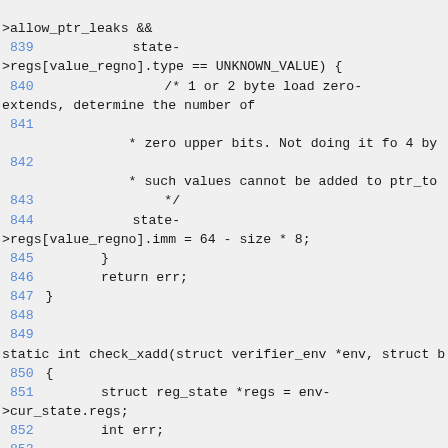Source code listing lines 839-854 of a Linux kernel BPF verifier C file